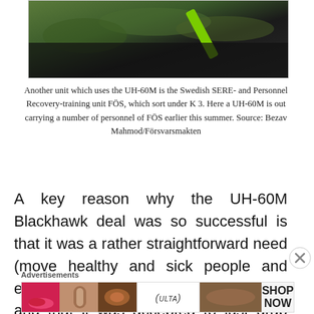[Figure (photo): Aerial photo showing a UH-60M Blackhawk helicopter with green forest and fields below, dark fuselage visible with green strap/equipment]
Another unit which uses the UH-60M is the Swedish SERE- and Personnel Recovery-training unit FÖS, which sort under K 3. Here a UH-60M is out carrying a number of personnel of FÖS earlier this summer. Source: Bezav Mahmod/Försvarsmakten
A key reason why the UH-60M Blackhawk deal was so successful is that it was a rather straightforward need (move healthy and sick people and equipment quickly from point A to B) and that it was accepted to just grab what
Advertisements
[Figure (photo): ULTA Beauty advertisement banner showing cosmetics and eyes imagery with SHOP NOW call to action]